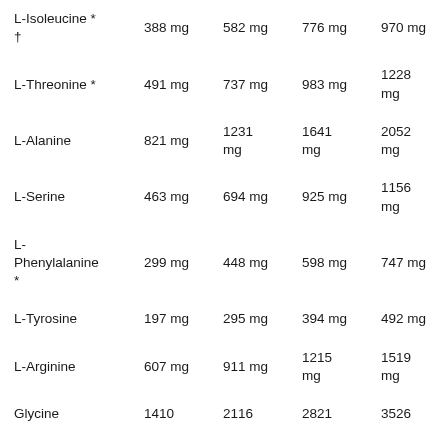| L-Isoleucine * † | 388 mg | 582 mg | 776 mg | 970 mg |
| L-Threonine * | 491 mg | 737 mg | 983 mg | 1228 mg |
| L-Alanine | 821 mg | 1231 mg | 1641 mg | 2052 mg |
| L-Serine | 463 mg | 694 mg | 925 mg | 1156 mg |
| L-Phenylalanine * | 299 mg | 448 mg | 598 mg | 747 mg |
| L-Tyrosine | 197 mg | 295 mg | 394 mg | 492 mg |
| L-Arginine | 607 mg | 911 mg | 1215 mg | 1519 mg |
| Glycine | 1410 | 2116 | 2821 | 3526 |